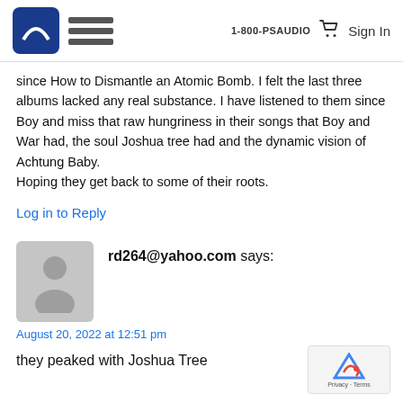1-800-PSAUDIO  Sign In
since How to Dismantle an Atomic Bomb. I felt the last three albums lacked any real substance. I have listened to them since Boy and miss that raw hungriness in their songs that Boy and War had, the soul Joshua tree had and the dynamic vision of Achtung Baby.
Hoping they get back to some of their roots.
Log in to Reply
rd264@yahoo.com says:
August 20, 2022 at 12:51 pm
they peaked with Joshua Tree